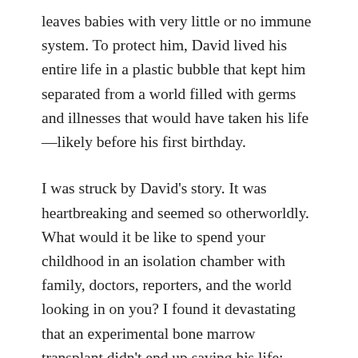leaves babies with very little or no immune system. To protect him, David lived his entire life in a plastic bubble that kept him separated from a world filled with germs and illnesses that would have taken his life—likely before his first birthday.
I was struck by David's story. It was heartbreaking and seemed so otherworldly. What would it be like to spend your childhood in an isolation chamber with family, doctors, reporters, and the world looking in on you? I found it devastating that an experimental bone marrow transplant didn't end up saving his life; instead it led to fatal complications. His mother, Carol Ann Demaret, touched his bare hand for the first and last time when he was 12 years old.
I couldn't have known that almost 30 years later, my